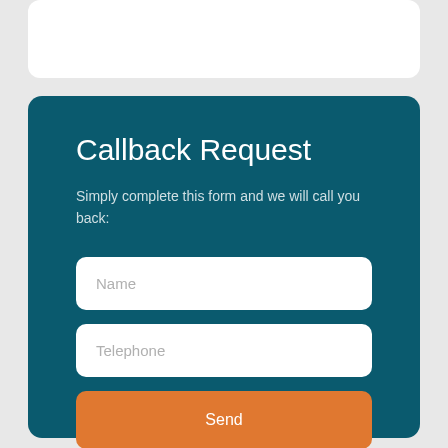Callback Request
Simply complete this form and we will call you back:
Name
Telephone
Send